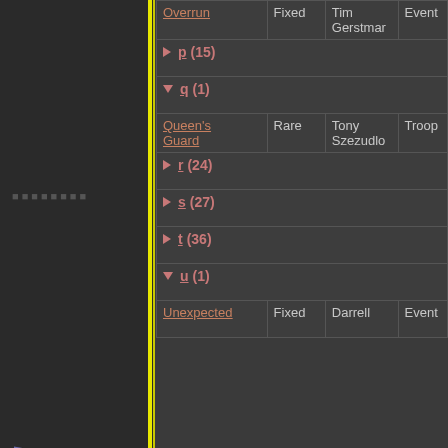| Name | Type | Author/Designer | Category | Setting |
| --- | --- | --- | --- | --- |
| Overrun | Fixed | Tim Gerstmar | Event |  |
| p (15) |  |  |  |  |
| q (1) |  |  |  |  |
| Queen's Guard | Rare | Tony Szezudlo | Troop | Andor |
| r (24) |  |  |  |  |
| s (27) |  |  |  |  |
| t (36) |  |  |  |  |
| u (1) |  |  |  |  |
| Unexpected... | Fixed | Darrell | Event | Limited |